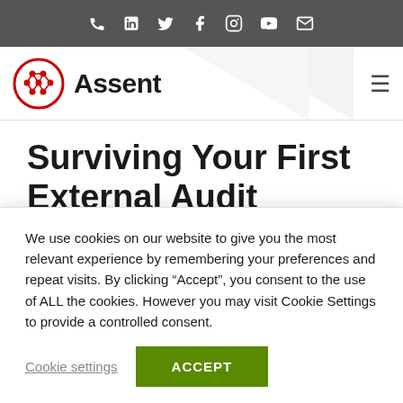Social media icons bar: phone, LinkedIn, Twitter, Facebook, Instagram, YouTube, email
[Figure (logo): Assent logo: red circle with molecular/network dots icon, followed by bold text 'Assent']
Surviving Your First External Audit
We use cookies on our website to give you the most relevant experience by remembering your preferences and repeat visits. By clicking “Accept”, you consent to the use of ALL the cookies. However you may visit Cookie Settings to provide a controlled consent.
Cookie settings | ACCEPT